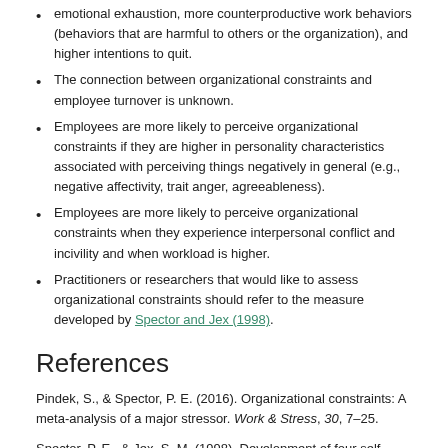emotional exhaustion, more counterproductive work behaviors (behaviors that are harmful to others or the organization), and higher intentions to quit.
The connection between organizational constraints and employee turnover is unknown.
Employees are more likely to perceive organizational constraints if they are higher in personality characteristics associated with perceiving things negatively in general (e.g., negative affectivity, trait anger, agreeableness).
Employees are more likely to perceive organizational constraints when they experience interpersonal conflict and incivility and when workload is higher.
Practitioners or researchers that would like to assess organizational constraints should refer to the measure developed by Spector and Jex (1998).
References
Pindek, S., & Spector, P. E. (2016). Organizational constraints: A meta-analysis of a major stressor. Work & Stress, 30, 7–25.
Spector, P. E., & Jex, S. M. (1998). Development of four self-report measures of job stressors and strain: Interpersonal conflict at work scale, organizational